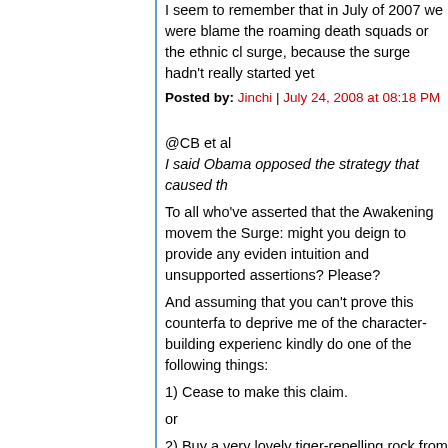I seem to remember that in July of 2007 we were blame the roaming death squads or the ethnic cl surge, because the surge hadn't really started yet
Posted by: Jinchi | July 24, 2008 at 08:18 PM
@CB et al
I said Obama opposed the strategy that caused th
To all who've asserted that the Awakening movem the Surge: might you deign to provide any eviden intuition and unsupported assertions? Please?
And assuming that you can't prove this counterfa to deprive me of the character-building experienc kindly do one of the following things:
1) Cease to make this claim.
or
2) Buy a very lovely tiger-repelling rock from me.
Posted by: Nombrilisme Vide | July 24, 2008 at 08:31 PM